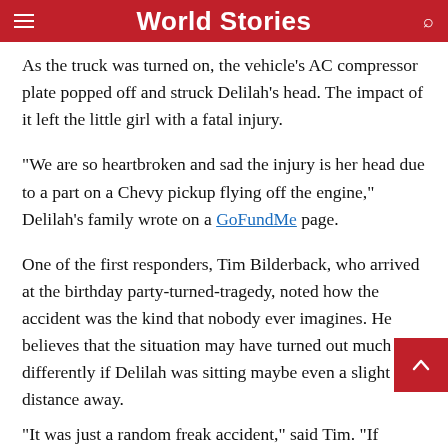World Stories
As the truck was turned on, the vehicle's AC compressor plate popped off and struck Delilah's head. The impact of it left the little girl with a fatal injury.
“We are so heartbroken and sad the injury is her head due to a part on a Chevy pickup flying off the engine,” Delilah’s family wrote on a GoFundMe page.
One of the first responders, Tim Bilderback, who arrived at the birthday party-turned-tragedy, noted how the accident was the kind that nobody ever imagines. He believes that the situation may have turned out much differently if Delilah was sitting maybe even a slight distance away.
“It was just a random freak accident,” said Tim. “If